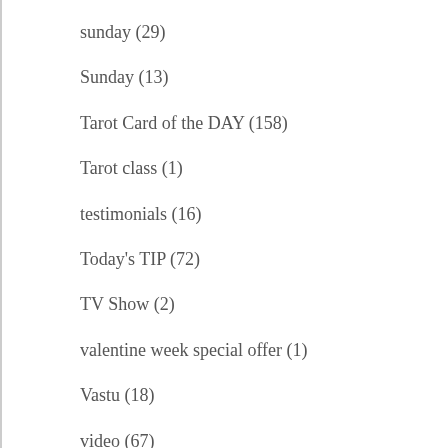sunday (29)
Sunday (13)
Tarot Card of the DAY (158)
Tarot class (1)
testimonials (16)
Today's TIP (72)
TV Show (2)
valentine week special offer (1)
Vastu (18)
video (67)
Workshop (33)